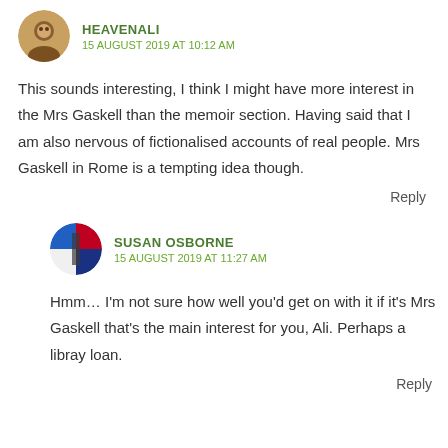HEAVENALI
15 AUGUST 2019 AT 10:12 AM
This sounds interesting, I think I might have more interest in the Mrs Gaskell than the memoir section. Having said that I am also nervous of fictionalised accounts of real people. Mrs Gaskell in Rome is a tempting idea though.
Reply
SUSAN OSBORNE
15 AUGUST 2019 AT 11:27 AM
Hmm… I'm not sure how well you'd get on with it if it's Mrs Gaskell that's the main interest for you, Ali. Perhaps a libray loan.
Reply